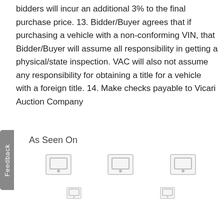bidders will incur an additional 3% to the final purchase price. 13. Bidder/Buyer agrees that if purchasing a vehicle with a non-conforming VIN, that Bidder/Buyer will assume all responsibility in getting a physical/state inspection. VAC will also not assume any responsibility for obtaining a title for a vehicle with a foreign title. 14. Make checks payable to Vicari Auction Company
As Seen On
[Figure (other): Three image placeholders in a row representing media logos]
[Figure (other): Two smaller image placeholders in a row representing media logos]